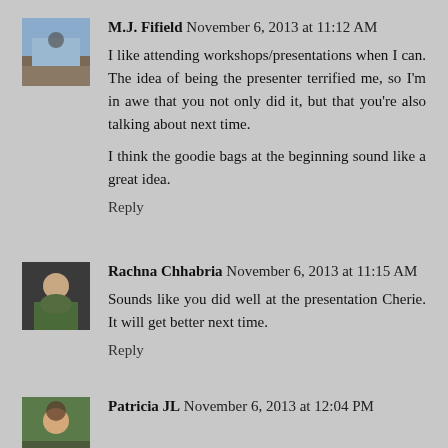M.J. Fifield  November 6, 2013 at 11:12 AM
I like attending workshops/presentations when I can. The idea of being the presenter terrified me, so I'm in awe that you not only did it, but that you're also talking about next time.
I think the goodie bags at the beginning sound like a great idea.
Reply
Rachna Chhabria  November 6, 2013 at 11:15 AM
Sounds like you did well at the presentation Cherie. It will get better next time.
Reply
Patricia JL  November 6, 2013 at 12:04 PM